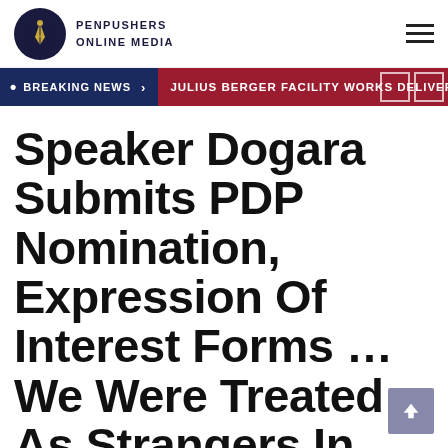PenPushers Online Media
BREAKING NEWS > JULIUS BERGER FACILITY WORKS DELIVERS
Speaker Dogara Submits PDP Nomination, Expression Of Interest Forms …We Were Treated As Strangers In APC